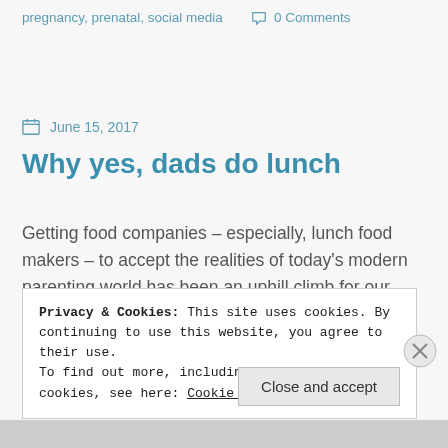pregnancy, prenatal, social media   0 Comments
June 15, 2017
Why yes, dads do lunch
Getting food companies – especially, lunch food makers – to accept the realities of today's modern parenting world has been an uphill climb for our
Privacy & Cookies: This site uses cookies. By continuing to use this website, you agree to their use.
To find out more, including how to control cookies, see here: Cookie Policy